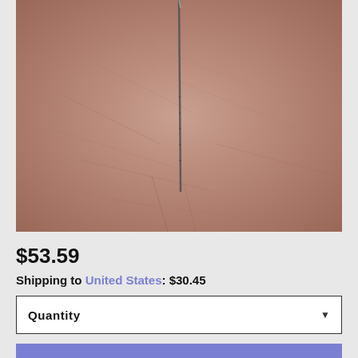[Figure (photo): Close-up photo of a thin needle or pin resting on a hand/skin, showing skin texture and fine lines in the background]
$53.59
Shipping to United States: $30.45
Quantity